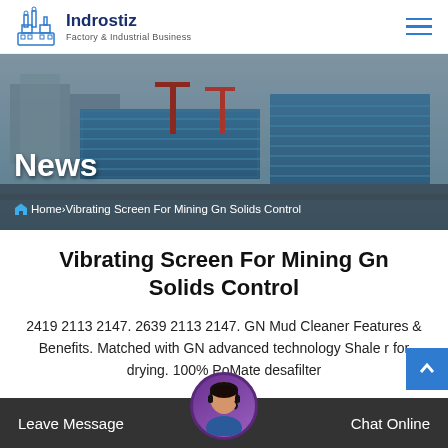Indrostiz — Factory & Industrial Business
[Figure (photo): Aerial view of large industrial factory complex with blue metal roofs and construction cranes in background, used as hero banner image]
News
Home > Vibrating Screen For Mining Gn Solids Control
Vibrating Screen For Mining Gn Solids Control
2419 2113 2147. 2639 2113 2147. GN Mud Cleaner Features & Benefits. Matched with GN advanced technology Shale Shaker for drying. 100% Polyurethane Material desander filter GN Cleaner two silt cleaner with 3 cyclone...
Leave Message   Chat Online